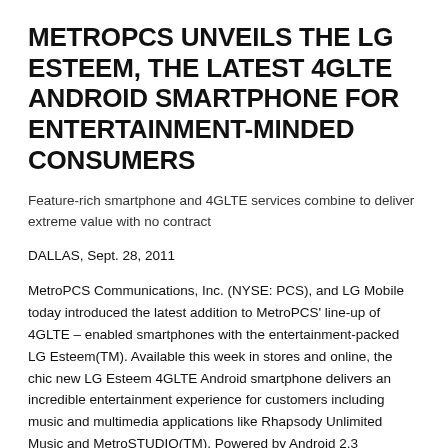METROPCS UNVEILS THE LG ESTEEM, THE LATEST 4GLTE ANDROID SMARTPHONE FOR ENTERTAINMENT-MINDED CONSUMERS
Feature-rich smartphone and 4GLTE services combine to deliver extreme value with no contract
DALLAS, Sept. 28, 2011
MetroPCS Communications, Inc. (NYSE: PCS), and LG Mobile today introduced the latest addition to MetroPCS' line-up of 4GLTE – enabled smartphones with the entertainment-packed LG Esteem(TM). Available this week in stores and online, the chic new LG Esteem 4GLTE Android smartphone delivers an incredible entertainment experience for customers including music and multimedia applications like Rhapsody Unlimited Music and MetroSTUDIO(TM). Powered by Android 2.3 (Gingerbread), LG Esteem features a sleek, modern design for